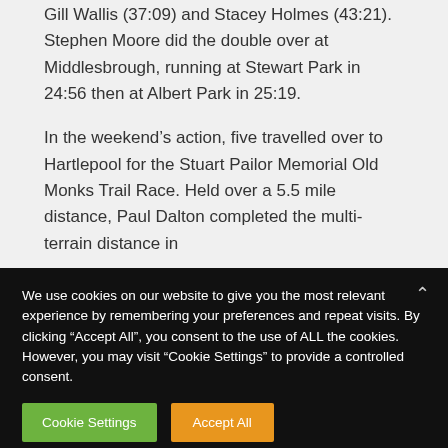Gill Wallis (37:09) and Stacey Holmes (43:21). Stephen Moore did the double over at Middlesbrough, running at Stewart Park in 24:56 then at Albert Park in 25:19.
In the weekend's action, five travelled over to Hartlepool for the Stuart Pailor Memorial Old Monks Trail Race. Held over a 5.5 mile distance, Paul Dalton completed the multi-terrain distance in
We use cookies on our website to give you the most relevant experience by remembering your preferences and repeat visits. By clicking "Accept All", you consent to the use of ALL the cookies. However, you may visit "Cookie Settings" to provide a controlled consent.